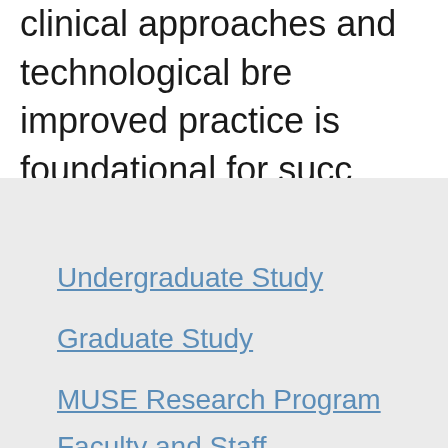clinical approaches and technological bre... improved practice is foundational for suc... school, in its commitment to research and... adopters but active creators of the new kn...
Undergraduate Study
Graduate Study
MUSE Research Program
Faculty and Staff